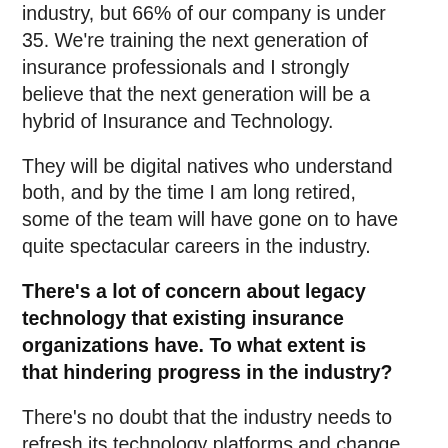industry, but 66% of our company is under 35. We're training the next generation of insurance professionals and I strongly believe that the next generation will be a hybrid of Insurance and Technology.
They will be digital natives who understand both, and by the time I am long retired, some of the team will have gone on to have quite spectacular careers in the industry.
There's a lot of concern about legacy technology that existing insurance organizations have. To what extent is that hindering progress in the industry?
There's no doubt that the industry needs to refresh its technology platforms and change some of the processes. The industry will survive, but the players are going to change. How the market reinvents